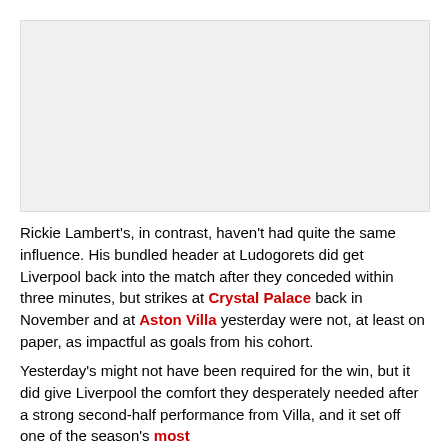[Figure (photo): Photo placeholder at the top of the article page]
Rickie Lambert's, in contrast, haven't had quite the same influence. His bundled header at Ludogorets did get Liverpool back into the match after they conceded within three minutes, but strikes at Crystal Palace back in November and at Aston Villa yesterday were not, at least on paper, as impactful as goals from his cohort.
Yesterday's might not have been required for the win, but it did give Liverpool the comfort they desperately needed after a strong second-half performance from Villa, and it set off one of the season's most